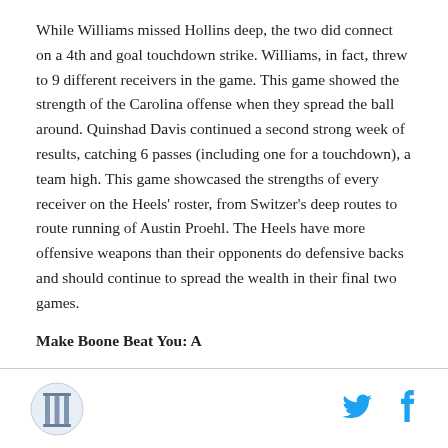While Williams missed Hollins deep, the two did connect on a 4th and goal touchdown strike. Williams, in fact, threw to 9 different receivers in the game. This game showed the strength of the Carolina offense when they spread the ball around. Quinshad Davis continued a second strong week of results, catching 6 passes (including one for a touchdown), a team high. This game showcased the strengths of every receiver on the Heels' roster, from Switzer's deep routes to route running of Austin Proehl. The Heels have more offensive weapons than their opponents do defensive backs and should continue to spread the wealth in their final two games.
Make Boone Beat You: A
[Figure (logo): Circular logo with a column/pillar emblem on a light blue background]
[Figure (logo): Twitter bird icon in cyan/light blue]
[Figure (logo): Facebook 'f' icon in cyan/light blue]